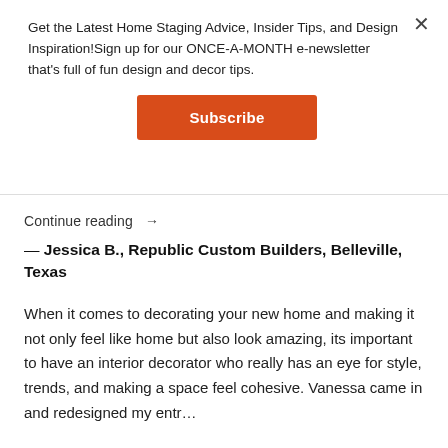Get the Latest Home Staging Advice, Insider Tips, and Design Inspiration!Sign up for our ONCE-A-MONTH e-newsletter that's full of fun design and decor tips.
Subscribe
Continue reading →
— Jessica B., Republic Custom Builders, Belleville, Texas
When it comes to decorating your new home and making it not only feel like home but also look amazing, its important to have an interior decorator who really has an eye for style, trends, and making a space feel cohesive. Vanessa came in and redesigned my entr…